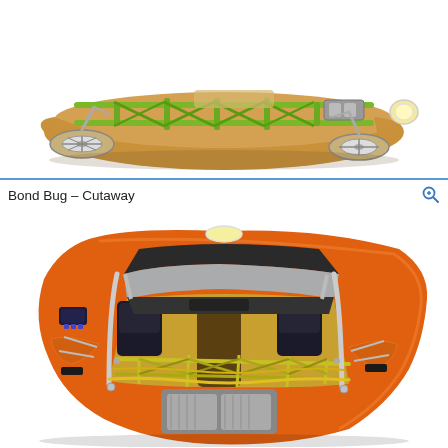[Figure (engineering-diagram): Cutaway illustration of a Bond Bug three-wheeler vehicle chassis showing the tubular frame, suspension, drivetrain, and body panels from an elevated perspective. The car body is orange/tan with a green tubular chassis visible.]
Bond Bug – Cutaway
[Figure (engineering-diagram): Cutaway illustration of a Bond Bug three-wheeler vehicle showing the interior layout, seats, engine, mechanical components, chassis tubes, and body from an overhead angled perspective. The car is bright orange with yellow-green internal framing and chrome/silver mechanical details.]